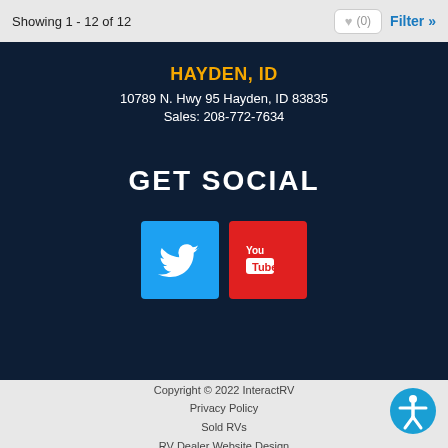Showing 1 - 12 of 12
♥ (0)
Filter »
HAYDEN, ID
10789 N. Hwy 95 Hayden, ID 83835
Sales: 208-772-7634
GET SOCIAL
[Figure (infographic): Twitter bird icon (white on blue square) and YouTube icon (white text on red square) side by side]
Copyright © 2022 InteractRV
Privacy Policy
Sold RVs
RV Dealer Website Design
[Figure (illustration): Blue circular accessibility icon with white human figure with outstretched arms]